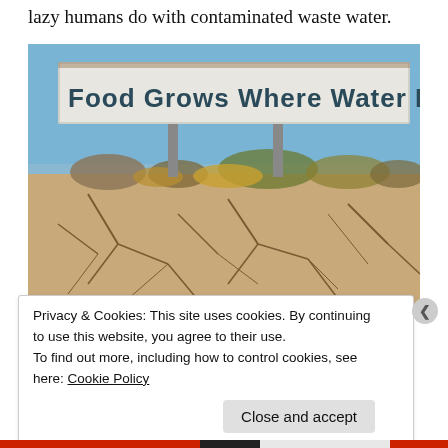lazy humans do with contaminated waste water.
[Figure (photo): A billboard reading 'Food Grows Where Water Flows' standing above cracked dry earth and sparse shrubs under a blue sky, illustrating drought conditions.]
Privacy & Cookies: This site uses cookies. By continuing to use this website, you agree to their use.
To find out more, including how to control cookies, see here: Cookie Policy
Close and accept